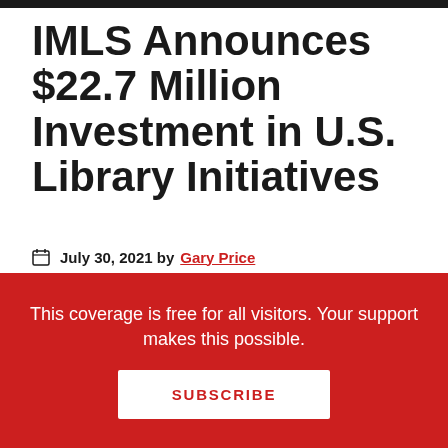IMLS Announces $22.7 Million Investment in U.S. Library Initiatives
July 30, 2021 by Gary Price
From IMLS:
The Institute of Museum and Library Services today announced 78 awards totaling
This coverage is free for all visitors. Your support makes this possible.
SUBSCRIBE